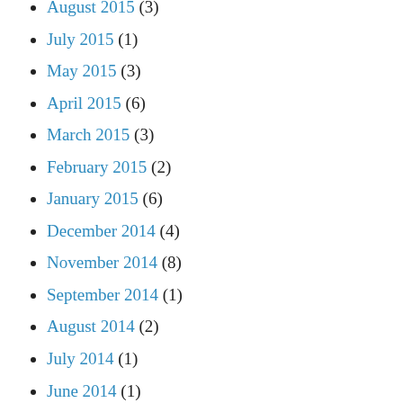August 2015 (3)
July 2015 (1)
May 2015 (3)
April 2015 (6)
March 2015 (3)
February 2015 (2)
January 2015 (6)
December 2014 (4)
November 2014 (8)
September 2014 (1)
August 2014 (2)
July 2014 (1)
June 2014 (1)
May 2014 (7)
March 2014 (1)
February 2014 (4)
January 2014 (1)